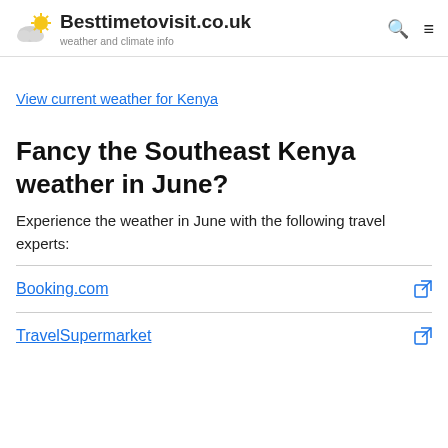Besttimetovisit.co.uk — weather and climate info
View current weather for Kenya
Fancy the Southeast Kenya weather in June?
Experience the weather in June with the following travel experts:
Booking.com
TravelSupermarket